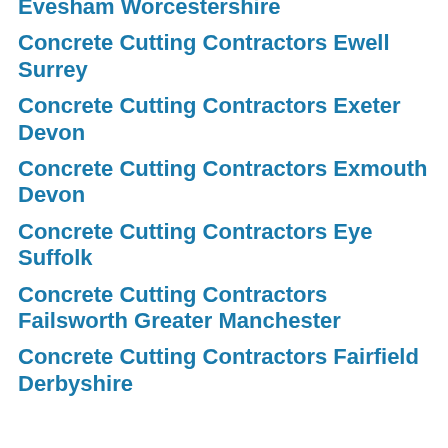Evesham Worcestershire
Concrete Cutting Contractors Ewell Surrey
Concrete Cutting Contractors Exeter Devon
Concrete Cutting Contractors Exmouth Devon
Concrete Cutting Contractors Eye Suffolk
Concrete Cutting Contractors Failsworth Greater Manchester
Concrete Cutting Contractors Fairfield Derbyshire